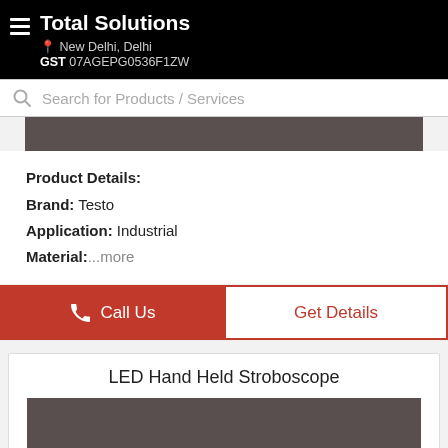Total Solutions
New Delhi, Delhi
GST 07AGEPG0536F1ZW
Search for Products / Services
[Figure (photo): Product image placeholder (dark gray rectangle)]
Product Details:
Brand: Testo
Application: Industrial
Material: ...more
Call Us
Get Details
LED Hand Held Stroboscope
[Figure (photo): Product image placeholder (dark gray rectangle)]